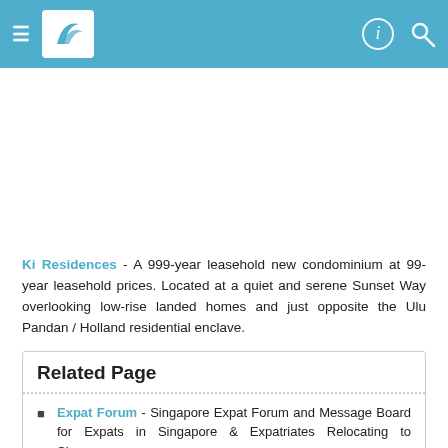Navigation header bar with menu, logo, and search icons
Ki Residences - A 999-year leasehold new condominium at 99-year leasehold prices. Located at a quiet and serene Sunset Way overlooking low-rise landed homes and just opposite the Ulu Pandan / Holland residential enclave.
Related Page
Expat Forum - Singapore Expat Forum and Message Board for Expats in Singapore & Expatriates Relocating to Singapore.
House Hunt Guide - ...